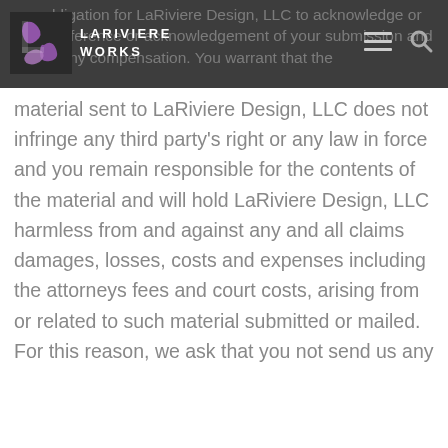any obligation for LaRiviere Design, LLC to acknowledge or make reference or acknowledgement of your submission and to pay any compensation. You warrant that the
material sent to LaRiviere Design, LLC does not infringe any third party's right or any law in force and you remain responsible for the contents of the material and will hold LaRiviere Design, LLC harmless from and against any and all claims damages, losses, costs and expenses including the attorneys fees and court costs, arising from or related to such material submitted or mailed. For this reason, we ask that you not send us any